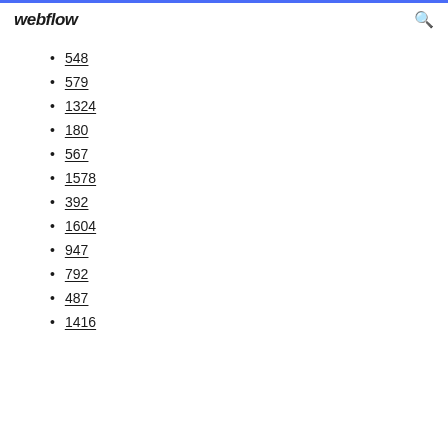webflow
548
579
1324
180
567
1578
392
1604
947
792
487
1416